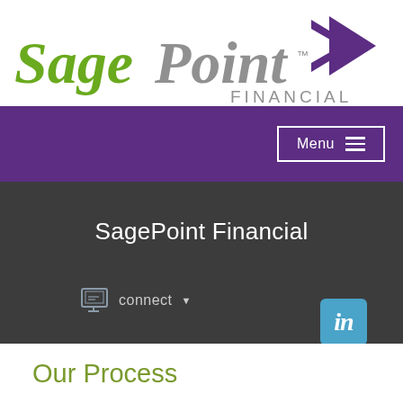[Figure (logo): SagePoint Financial logo with green italic 'Sage', gray italic 'Point', purple arrow chevron, and gray 'FINANCIAL' text]
[Figure (screenshot): Purple navigation bar with white bordered Menu button and hamburger icon]
SagePoint Financial
[Figure (screenshot): Dark gray section with monitor/connect widget and LinkedIn icon]
Our Process